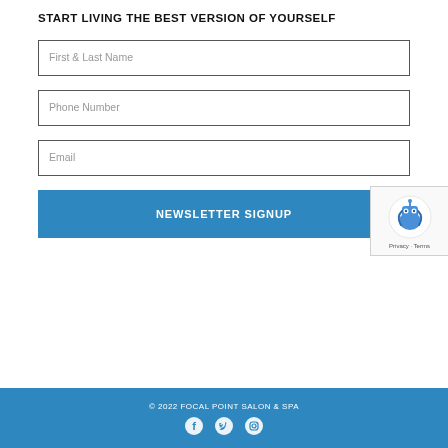START LIVING THE BEST VERSION OF YOURSELF
First & Last Name
Phone Number
Email
NEWSLETTER SIGNUP
[Figure (other): reCAPTCHA verification widget with robot icon, Privacy and Terms links]
© 2022 FOCAL POINT SALON & SPA